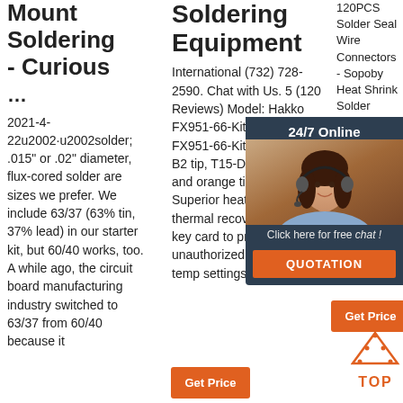Mount Soldering - Curious …
2021-4-22u2002·u2002solder; .015" or .02" diameter, flux-cored solder are sizes we prefer. We include 63/37 (63% tin, 37% lead) in our starter kit, but 60/40 works, too. A while ago, the circuit board manufacturing industry switched to 63/37 from 60/40 because it
Soldering Equipment
International (732) 728-2590. Chat with Us. 5 (120 Reviews) Model: Hakko FX951-66-Kit-1. Compare. FX951-66-Kit-1 - with T15-B2 tip, T15-D08 tip, blue and orange tip sleeves. Superior heat transfer and thermal recovery. Lockout key card to prevent unauthorized or accidental temp settings.
120PCS Solder Seal Wire Connectors - Sopoby Heat Shrink Solder Connectors Waterproof Butt Connectors Insulated Automotive Marine Wire Terminal 4.6 out 18,483 99 $14
[Figure (photo): 24/7 Online chat agent - woman with headset, customer service representative photo with dark background]
24/7 Online
Click here for free chat !
QUOTATION
Get Price
[Figure (other): TOP navigation icon with orange triangle/arrow shape and dots]